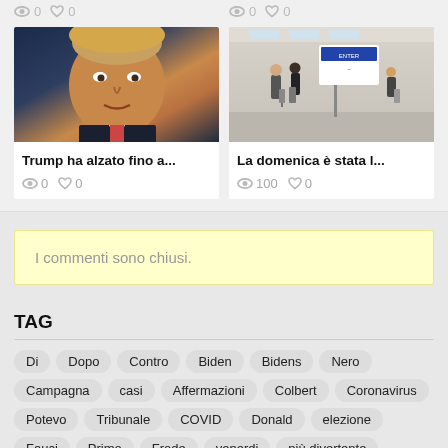0  0   0  0
[Figure (photo): Photo of Donald Trump, close-up portrait with dark background]
[Figure (photo): Airport scene with travelers pulling luggage, informational sign visible]
Trump ha alzato fino a...
La domenica è stata l...
0  0   100  0
I commenti sono chiusi.
TAG
Di
Dopo
Contro
Biden
Bidens
Nero
Campagna
casi
Affermazioni
Colbert
Coronavirus
Potevo
Tribunale
COVID
Donald
elezione
Fauci
Primo
Frode
venerdi
più divertente
Georgia
Harris
ecco
Casa
Jimmy